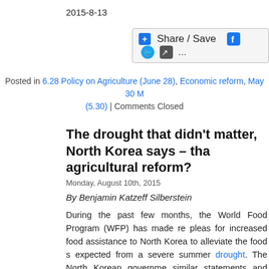2015-8-13
[Figure (other): Share / Save button with social media icons (Facebook, Twitter, share icon, ellipsis)]
Posted in 6.28 Policy on Agriculture (June 28), Economic reform, May 30 Movement (5.30) | Comments Closed
The drought that didn't matter, North Korea says – thanks to agricultural reform?
Monday, August 10th, 2015
By Benjamin Katzeff Silberstein
During the past few months, the World Food Program (WFP) has made repeated pleas for increased food assistance to North Korea to alleviate the food shortage expected from a severe summer drought. The North Korean government made similar statements and claimed that the drought was the worst one to occur in 100 years. Aid to the country was subsequently increased from the originally planned level, due to the drought. But now, one North Korean official is saying that food production ended up increasing, after all, thanks to agricultural reforms.
A recent brief by the Institute for Far Eastern Studies at Kyungnam University cites a July issue of Tongil Sinbo, a North Korean state-run weekly newspaper. There, Chi Myong Su, director of the Agricultural Research Institute of the Academy of Agricultural Sciences in the country, says that